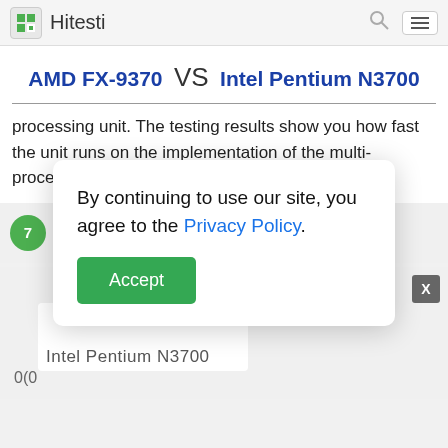Hitesti
AMD FX-9370 VS Intel Pentium N3700
processing unit. The testing results show you how fast the unit runs on the implementation of the multi-processing tasks
[Figure (screenshot): Cookie consent dialog with text 'By continuing to use our site, you agree to the Privacy Policy.' and a green Accept button]
0(0